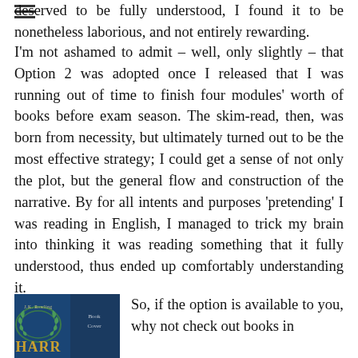deserved to be fully understood, I found it to be nonetheless laborious, and not entirely rewarding. I'm not ashamed to admit – well, only slightly – that Option 2 was adopted once I released that I was running out of time to finish four modules' worth of books before exam season. The skim-read, then, was born from necessity, but ultimately turned out to be the most effective strategy; I could get a sense of not only the plot, but the general flow and construction of the narrative. By for all intents and purposes 'pretending' I was reading in English, I managed to trick my brain into thinking it was reading something that it fully understood, thus ended up comfortably understanding it.
[Figure (photo): Book cover showing J.K. Rowling title with leaf/wreath design on dark blue background]
So, if the option is available to you, why not check out books in